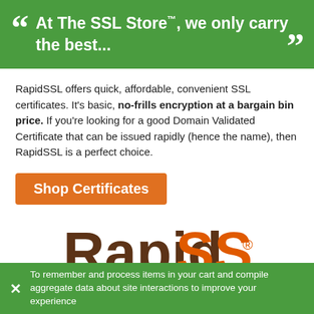At The SSL Store™, we only carry the best...
RapidSSL offers quick, affordable, convenient SSL certificates. It's basic, no-frills encryption at a bargain bin price. If you're looking for a good Domain Validated Certificate that can be issued rapidly (hence the name), then RapidSSL is a perfect choice.
Shop Certificates
[Figure (logo): RapidSSL logo with Rapid in dark brown and SSL in orange, followed by registered trademark symbol]
Thawte is one of the most trusted brands internationally and for good reason–it was the first international CA. Thawte products are backed by
To remember and process items in your cart and compile aggregate data about site interactions to improve your experience